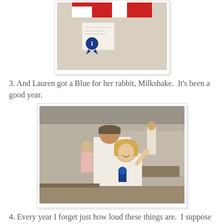[Figure (photo): Photo of a wall display with a first place blue ribbon (number 1) attached to what appears to be a poster or art piece with red and white elements]
3. And Lauren got a Blue for her rabbit, Milkshake.  It's been a good year.
[Figure (photo): Indoor photo at what appears to be a fair or exhibition hall. A young blonde girl in a white shirt holds up a blue ribbon, smiling. An adult in a cap and white shirt stands behind her. Other participants and tables are visible in the background.]
4. Every year I forget just how loud these things are.  I suppose it is a sign of just how old I am getting.